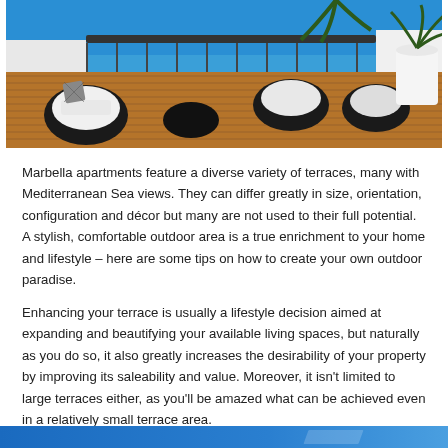[Figure (photo): Outdoor rooftop terrace with wicker furniture, wooden decking, potted palm plants, and Mediterranean sea view in the background with blue sky]
Marbella apartments feature a diverse variety of terraces, many with Mediterranean Sea views. They can differ greatly in size, orientation, configuration and décor but many are not used to their full potential. A stylish, comfortable outdoor area is a true enrichment to your home and lifestyle – here are some tips on how to create your own outdoor paradise.
Enhancing your terrace is usually a lifestyle decision aimed at expanding and beautifying your available living spaces, but naturally as you do so, it also greatly increases the desirability of your property by improving its saleability and value. Moreover, it isn't limited to large terraces either, as you'll be amazed what can be achieved even in a relatively small terrace area.